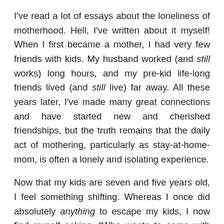I've read a lot of essays about the loneliness of motherhood. Hell, I've written about it myself! When I first became a mother, I had very few friends with kids. My husband worked (and still works) long hours, and my pre-kid life-long friends lived (and still live) far away. All these years later, I've made many great connections and have started new and cherished friendships, but the truth remains that the daily act of mothering, particularly as stay-at-home-mom, is often a lonely and isolating experience.
Now that my kids are seven and five years old, I feel something shifting. Whereas I once did absolutely anything to escape my kids, I now find myself asking, “Who wants to come with me to the grocery store?” A few weeks ago, Mike and I took the kids bowling on a